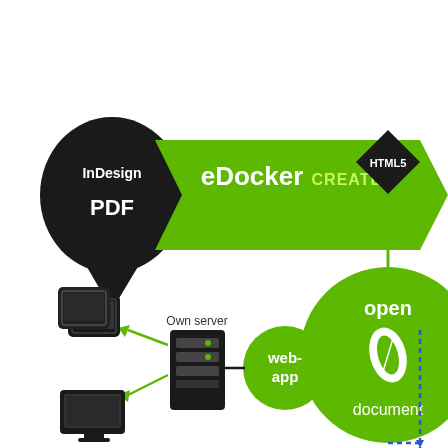[Figure (flowchart): eDocker CREATE! workflow diagram. A black teardrop/speech-bubble shape on the left contains 'InDesign PDF'. A large green arrow banner points right with text 'eDocker CREATE!'. A black diamond shape contains 'HTML5'. A large green circle contains 'open' and 'document' text with a white feather/quill icon. A dotted blue arrow flows down and to the right. At the bottom: a green circle with 'web-app', a black server tower icon labeled 'Own server', green arrows pointing left to device icons (tablet/monitor stacked), and a desktop monitor icon.]